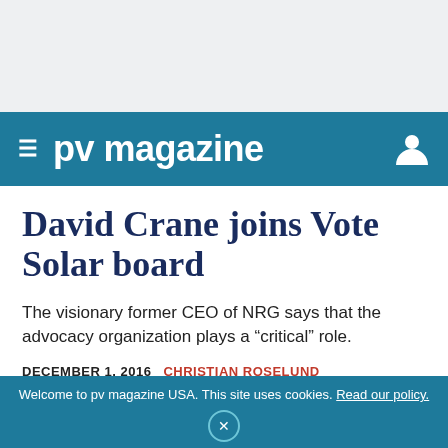≡ pv magazine
David Crane joins Vote Solar board
The visionary former CEO of NRG says that the advocacy organization plays a “critical” role.
DECEMBER 1, 2016  CHRISTIAN ROSELUND
Welcome to pv magazine USA. This site uses cookies. Read our policy.